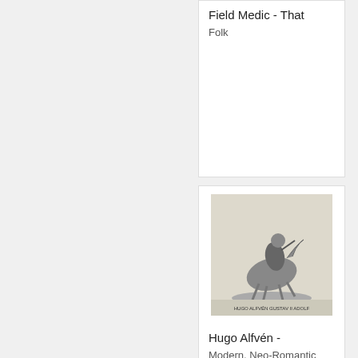Field Medic - That
Folk
[Figure (photo): Album cover for Hugo Alfven - Gustav II Adolf, black and white engraving of a figure on horseback]
Hugo Alfvén -
Modern, Neo-Romantic
[Figure (photo): Album cover for Wilhelm Stenhammar, brown/orange wood-grain design with text]